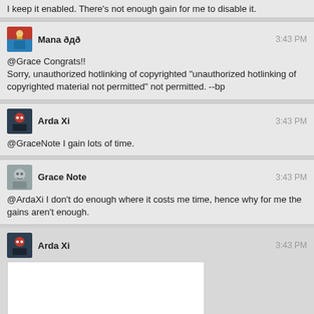I keep it enabled. There's not enough gain for me to disable it.
Mana ðдð  3:43 PM
@Grace Congrats!!
Sorry, unauthorized hotlinking of copyrighted "unauthorized hotlinking of copyrighted material not permitted" not permitted. --bp
Arda Xi  3:43 PM
@GraceNote I gain lots of time.
Grace Note  3:43 PM
@ArdaXi I don't do enough where it costs me time, hence why for me the gains aren't enough.
Arda Xi  3:43 PM
[Figure (photo): A colorful party noisemaker/blowout horn with red handle and multicolored cylindrical drum (green, blue, yellow, red sections), shown on white background with www.worldofstock.com watermark]
^--- what Mana tried to link.